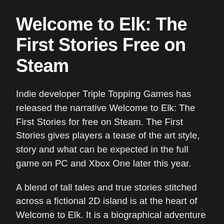Welcome to Elk: The First Stories Free on Steam
Indie developer Triple Topping Games has released the narrative Welcome to Elk: The First Stories for free on Steam. The First Stories gives players a tease of the art style, story and what can be expected in the full game on PC and Xbox One later this year.
A blend of tall tales and true stories stitched across a fictional 2D island is at the heart of Welcome to Elk. It is a biographical adventure full of joyful, dark, and hilarious moments and minigames.
The stories are based on first-hand travel accounts about people who have either been ignored or forgotten by the world. For example, Lauge who lived in Greenland and rural California who happens to be the brother of Elk's director. At older age, he started delivering his last li...